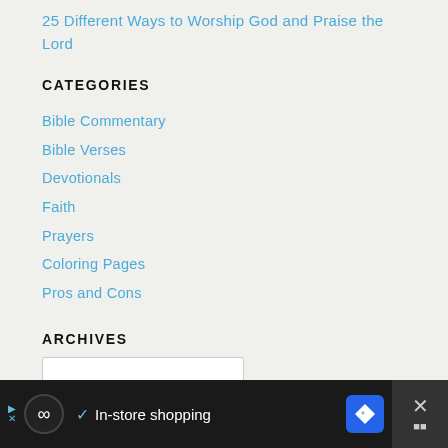25 Different Ways to Worship God and Praise the Lord
CATEGORIES
Bible Commentary
Bible Verses
Devotionals
Faith
Prayers
Coloring Pages
Pros and Cons
ARCHIVES
In-store shopping [advertisement bar]